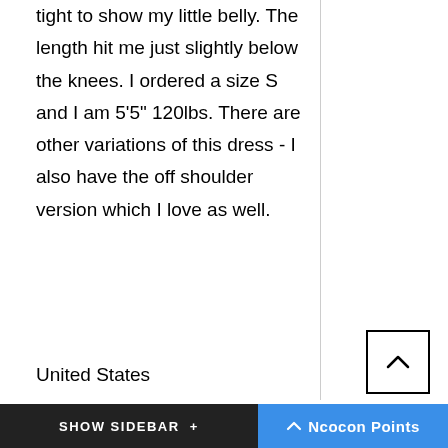tight to show my little belly. The length hit me just slightly below the knees. I ordered a size S and I am 5'5" 120lbs. There are other variations of this dress - I also have the off shoulder version which I love as well.
United States
11-Sep-21
SHOW SIDEBAR +    ^ Ncocon Points